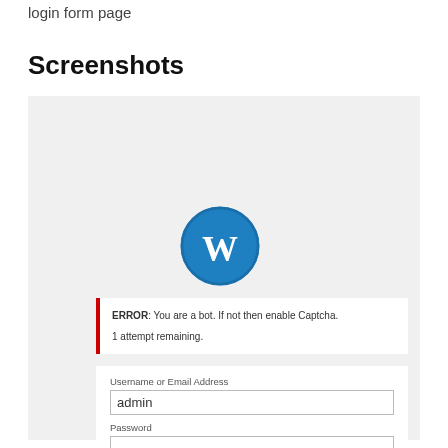login form page
Screenshots
[Figure (screenshot): WordPress login form screenshot showing an error message 'ERROR: You are a bot. If not then enable Captcha. 1 attempt remaining.' with a username field containing 'admin', a password field, and a reCAPTCHA checkbox highlighted with a red border.]